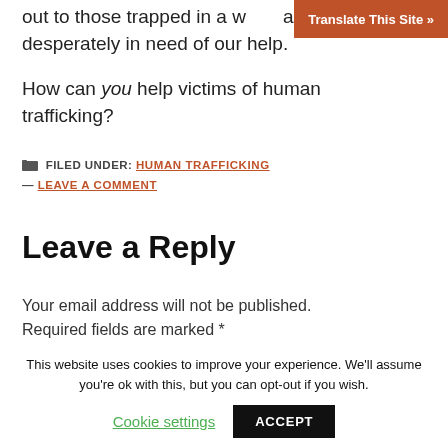out to those trapped in a w... and desperately in need of our help.
[Figure (other): Orange 'Translate This Site »' button in top right corner]
How can you help victims of human trafficking?
FILED UNDER: HUMAN TRAFFICKING — LEAVE A COMMENT
Leave a Reply
Your email address will not be published. Required fields are marked *
This website uses cookies to improve your experience. We'll assume you're ok with this, but you can opt-out if you wish.